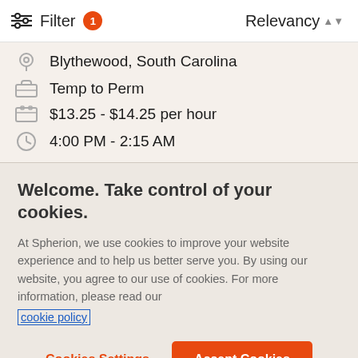Filter 1  Relevancy
Blythewood, South Carolina
Temp to Perm
$13.25 - $14.25 per hour
4:00 PM - 2:15 AM
Welcome. Take control of your cookies.
At Spherion, we use cookies to improve your website experience and to help us better serve you. By using our website, you agree to our use of cookies. For more information, please read our cookie policy
Cookies Settings  Accept Cookies